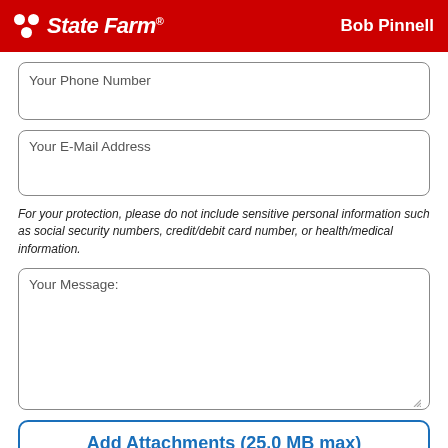State Farm — Bob Pinnell
Your Phone Number
Your E-Mail Address
For your protection, please do not include sensitive personal information such as social security numbers, credit/debit card number, or health/medical information.
Your Message:
Add Attachments (25.0 MB max)
Please attach only .docx, .xlsx, .pdf, .jpg, .jpeg, .png, .gif, or .txt file(s) —